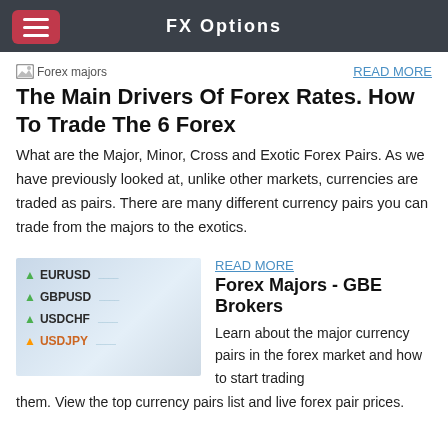FX Options
[Figure (other): Small thumbnail placeholder image labeled 'Forex majors']
The Main Drivers Of Forex Rates. How To Trade The 6 Forex
What are the Major, Minor, Cross and Exotic Forex Pairs. As we have previously looked at, unlike other markets, currencies are traded as pairs. There are many different currency pairs you can trade from the majors to the exotics.
[Figure (photo): Photo of a mobile trading screen showing currency pairs: EURUSD, GBPUSD, USDCHF, USDJPY with green up arrows]
Forex Majors - GBE Brokers
Learn about the major currency pairs in the forex market and how to start trading them. View the top currency pairs list and live forex pair prices.